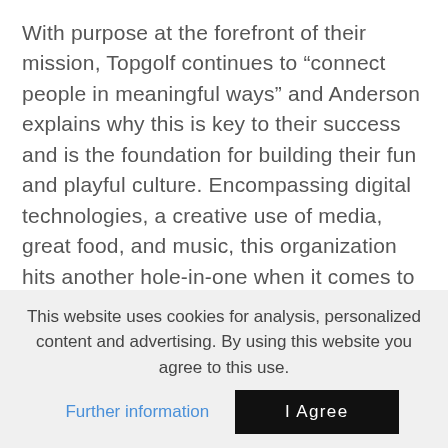With purpose at the forefront of their mission, Topgolf continues to “connect people in meaningful ways” and Anderson explains why this is key to their success and is the foundation for building their fun and playful culture. Encompassing digital technologies, a creative use of media, great food, and music, this organization hits another hole-in-one when it comes to attracting and recruiting “creative, curious and edgy-spirited” talent. He explains how they address challenges, shares their international growth strategy, and enlightens us on how this fast-growing company is staying ahead of the curve of
This website uses cookies for analysis, personalized content and advertising. By using this website you agree to this use.
Further information
I Agree